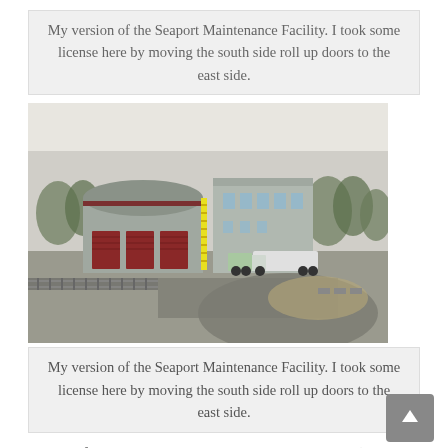My version of the Seaport Maintenance Facility. I took some license here by moving the south side roll up doors to the east side.
[Figure (photo): Model railroad layout showing the Seaport Maintenance Facility building with red roll-up doors, a white tanker truck, railroad tracks in the foreground, and a scenic backdrop with trees.]
My version of the Seaport Maintenance Facility. I took some license here by moving the south side roll up doors to the east side.
This is the first building I painted using Vallejo Primer (Panzer Gray), all my previous buildings have been primed